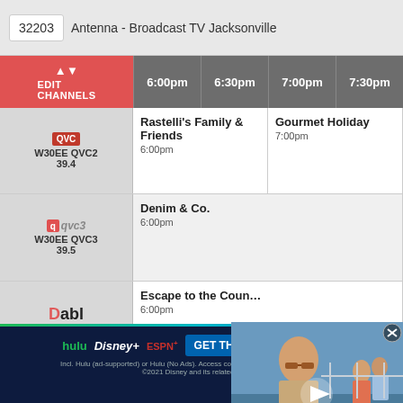32203  Antenna - Broadcast TV Jacksonville
| Channel | 6:00pm | 6:30pm | 7:00pm | 7:30pm |
| --- | --- | --- | --- | --- |
| W30EE QVC2 39.4 | Rastelli's Family & Friends 6:00pm |  | Gourmet Holiday 7:00pm |  |
| W30EE QVC3 39.5 | Denim & Co. 6:00pm |  |  |  |
| W30EE DABL 39.6 | Escape to the Country 6:00pm |  |  |  |
| WBXJ This TV 43.1 | MOVIE Tender Mercies (1983) 6:30pm |  |  |  |
[Figure (screenshot): Video overlay showing a man in sunglasses on a boat with a play button and close controls]
[Figure (screenshot): Disney Bundle advertisement banner with Hulu, Disney+, ESPN+ logos and GET THE DISNEY BUNDLE CTA button]